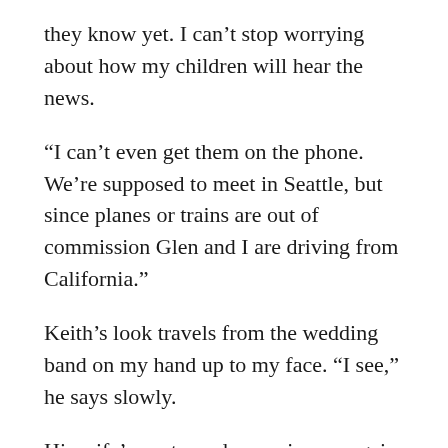they know yet. I can't stop worrying about how my children will hear the news.
“I can’t even get them on the phone. We’re supposed to meet in Seattle, but since planes or trains are out of commission Glen and I are driving from California.”
Keith’s look travels from the wedding band on my hand up to my face. “I see,” he says slowly.
His wife’s next words surprise me again. “I don’t know the particulars (and I suspect I don’t need to) but clearly you and your young man love each other. That’s not a bad thing, Nicole. You’re right: the main thing right now